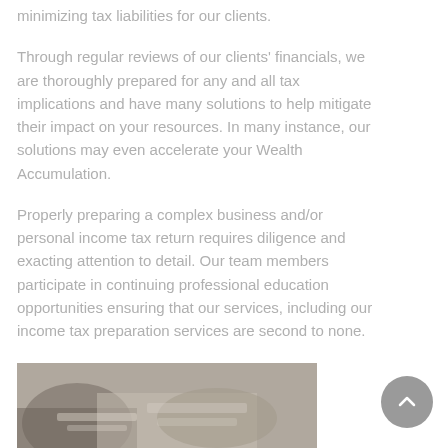minimizing tax liabilities for our clients.
Through regular reviews of our clients' financials, we are thoroughly prepared for any and all tax implications and have many solutions to help mitigate their impact on your resources. In many instance, our solutions may even accelerate your Wealth Accumulation.
Properly preparing a complex business and/or personal income tax return requires diligence and exacting attention to detail. Our team members participate in continuing professional education opportunities ensuring that our services, including our income tax preparation services are second to none.
[Figure (photo): Photo of people at a desk reviewing documents, hands visible on papers, business meeting setting.]